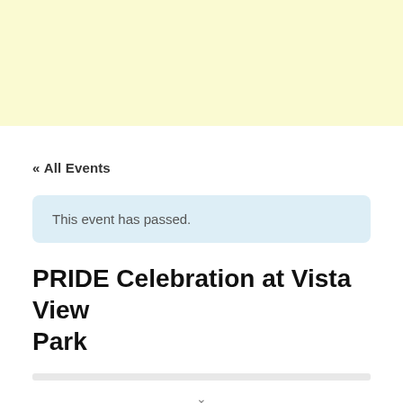[Figure (other): Light yellow banner/advertisement area at top of page]
« All Events
This event has passed.
PRIDE Celebration at Vista View Park